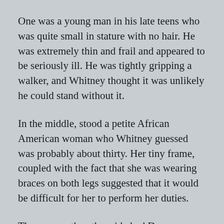One was a young man in his late teens who was quite small in stature with no hair. He was extremely thin and frail and appeared to be seriously ill. He was tightly gripping a walker, and Whitney thought it was unlikely he could stand without it.
In the middle, stood a petite African American woman who Whitney guessed was probably about thirty. Her tiny frame, coupled with the fact that she was wearing braces on both legs suggested that it would be difficult for her to perform her duties.
The man on the other side had Down syndrome and was about the same height. Whitney smiled at him and a look of embarrassment swept over his face as he turned away. She wondered how